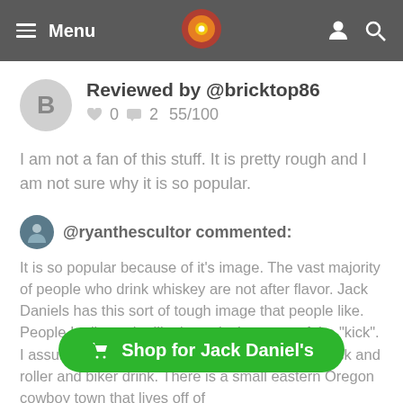Menu [logo] [user icon] [search icon]
Reviewed by @bricktop86
♥ 0  💬 2  55/100
I am not a fan of this stuff. It is pretty rough and I am not sure why it is so popular.
@ryanthescultor commented:
It is so popular because of it's image. The vast majority of people who drink whiskey are not after flavor. Jack Daniels has this sort of tough image that people like. People I talk to who like it say its because of the "kick". I assume they mean the alcohol burn. It is the rock and roller and biker drink. There is a small eastern Oregon cowboy town that lives off of Pendleton [logo]. They dump ice and water in it and drink until they pass out. Put a tulip on the bottle and they would not touch it!
Shop for Jack Daniel's